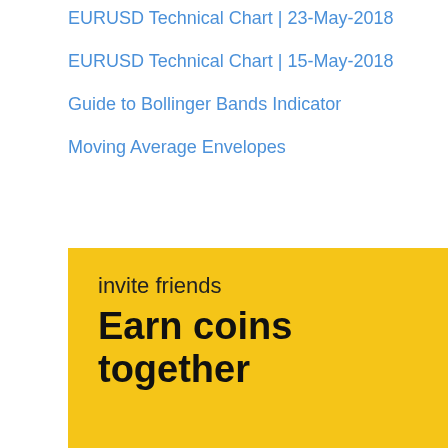EURUSD Technical Chart | 23-May-2018
EURUSD Technical Chart | 15-May-2018
Guide to Bollinger Bands Indicator
Moving Average Envelopes
[Figure (illustration): Yellow promotional banner with text 'invite friends' in regular weight and 'Earn coins together' in bold large text on a golden yellow background.]